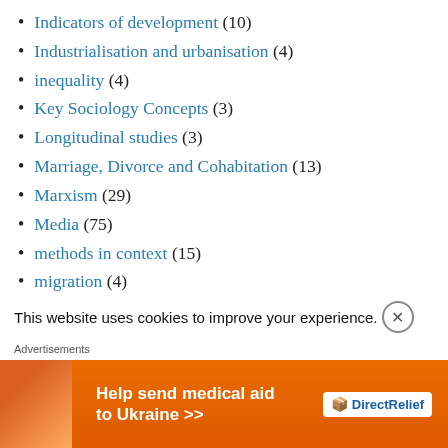Indicators of development (10)
Industrialisation and urbanisation (4)
inequality (4)
Key Sociology Concepts (3)
Longitudinal studies (3)
Marriage, Divorce and Cohabitation (13)
Marxism (29)
Media (75)
methods in context (15)
migration (4)
Millennials and Youngers (1)
Moral Panic (3)
This website uses cookies to improve your experience.
Advertisements
[Figure (infographic): Orange advertisement banner for Direct Relief: Help send medical aid to Ukraine >>]